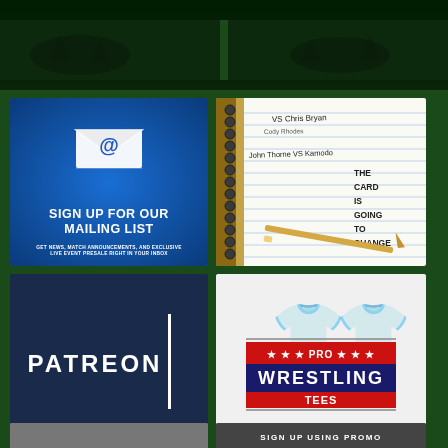[Figure (photo): Dark banner at top with wrestling action photo silhouettes, two panels separated by a gap]
[Figure (infographic): Blue mailing list sign-up panel with envelope/@ icon. Text: SIGN UP FOR OUR MAILING LIST. GET NEWS, MATCH ANNOUNCEMENTS, AND EXCLUSIVE LIVE EVENT PRESALE RIGHT IN YOUR INBOX]
[Figure (photo): Spiral notebook with handwritten wrestling match card: VS Chris Bryan / Cody Rhodes / John Thorne VS Kamodo / THE CARD IS GOING TO CHANGE, with pencil visible]
[Figure (logo): Patreon logo on dark navy background with white vertical bar accent]
[Figure (logo): Pro Wrestling Tees logo on light gray background with faded shirt silhouettes, red and dark blue branded logo]
[Figure (photo): Bottom left partially visible panel, gray]
[Figure (photo): Bottom right partially visible panel with text SIGN UP USING PROMO]